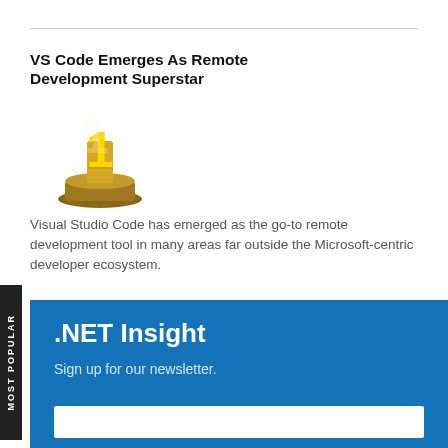VS Code Emerges As Remote Development Superstar
[Figure (illustration): Gold number 1 trophy/award on a pedestal]
Visual Studio Code has emerged as the go-to remote development tool in many areas far outside the Microsoft-centric developer ecosystem.
.NET Insight
Sign up for our newsletter.